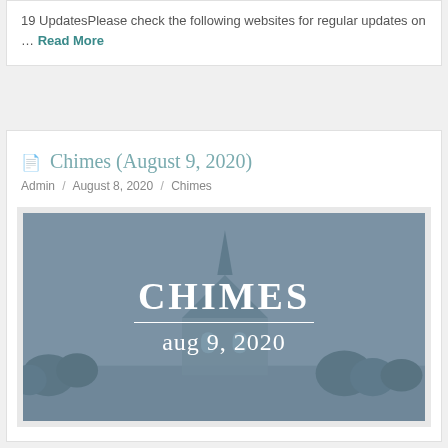19 UpdatesPlease check the following websites for regular updates on … Read More
Chimes (August 9, 2020)
Admin / August 8, 2020 / Chimes
[Figure (photo): Church building silhouette in blue-grey haze with large white text overlay reading CHIMES and aug 9, 2020]